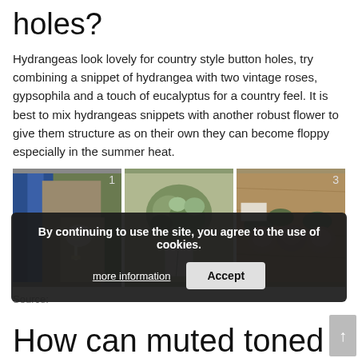holes?
Hydrangeas look lovely for country style button holes, try combining a snippet of hydrangea with two vintage roses, gypsophila and a touch of eucalyptus for a country feel. It is best to mix hydrangeas snippets with another robust flower to give them structure as on their own they can become floppy especially in the summer heat.
[Figure (photo): Three photos of flower boutonnieres/button holes: (1) a white hydrangea boutonniere on a man in blue tie and beige suit, (2) green hydrangea and foliage arrangement on light background, (3) three dusty pink roses with gypsophila and eucalyptus on a wooden surface.]
Source:
By continuing to use the site, you agree to the use of cookies. more information Accept
How can muted toned